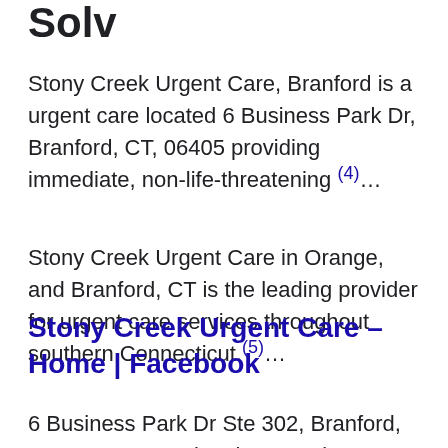Solv
Stony Creek Urgent Care, Branford is a urgent care located 6 Business Park Dr, Branford, CT, 06405 providing immediate, non-life-threatening (4)...
Stony Creek Urgent Care in Orange, and Branford, CT is the leading provider for urgent care services throughout southern Connecticut.(5)...
Stony Creek Urgent Care – Home | Facebook
6 Business Park Dr Ste 302, Branford, CT 06405. Get Directions. Rating: 3.8 (54...